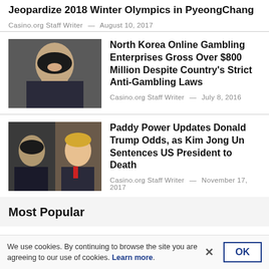Jeopardize 2018 Winter Olympics in PyeongChang
Casino.org Staff Writer — August 10, 2017
[Figure (photo): Portrait photo of Kim Jong Un smiling]
North Korea Online Gambling Enterprises Gross Over $800 Million Despite Country's Strict Anti-Gambling Laws
Casino.org Staff Writer — July 8, 2016
[Figure (photo): Side-by-side photos of Kim Jong Un and Donald Trump]
Paddy Power Updates Donald Trump Odds, as Kim Jong Un Sentences US President to Death
Casino.org Staff Writer — November 17, 2017
Most Popular
We use cookies. By continuing to browse the site you are agreeing to our use of cookies. Learn more.